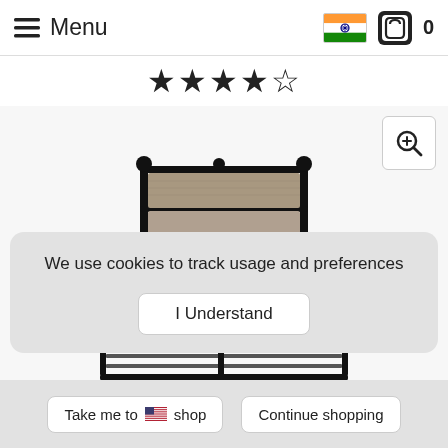≡ Menu
★★★★☆
[Figure (photo): Metal bed frame with upholstered headboard panel, viewed from front angle. Dark metal frame with black finials, grey/taupe fabric headboard insert, white bedding visible.]
We use cookies to track usage and preferences
I Understand
Take me to 🇺🇸 shop   Continue shopping